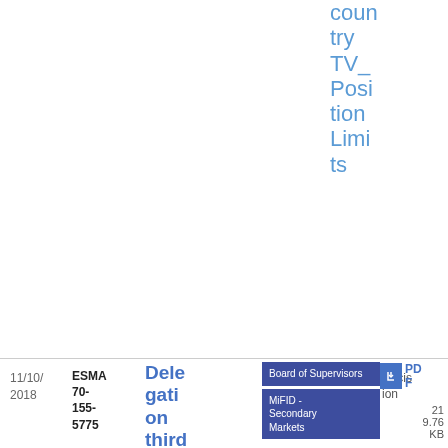third country TV_Position Limits
| Date | Reference | Title | Issued by / Topic | Type | File |
| --- | --- | --- | --- | --- | --- |
| 11/10/2018 | ESMA 70-155-5775 | Delegation third country TV post trade transparency | Board of Supervisors | MiFID - Secondary Markets | Decision | PDF 219.76 KB |